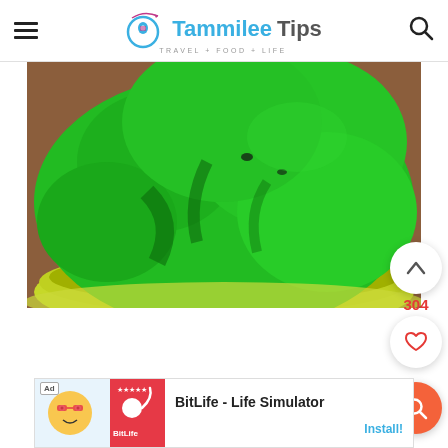Tammilee Tips - TRAVEL + FOOD + LIFE
[Figure (photo): Close-up of bright green dough or play dough in a yellow-green bowl on a wooden surface]
304
[Figure (screenshot): Ad banner: BitLife - Life Simulator with Install button]